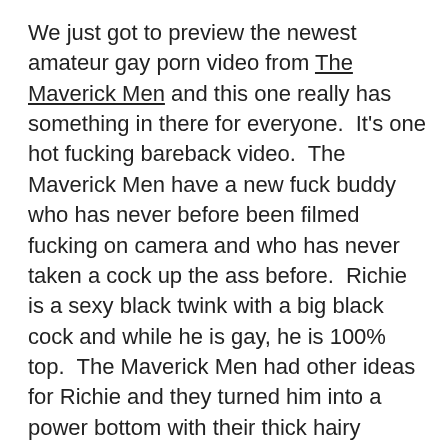We just got to preview the newest amateur gay porn video from The Maverick Men and this one really has something in there for everyone.  It's one hot fucking bareback video.  The Maverick Men have a new fuck buddy who has never before been filmed fucking on camera and who has never taken a cock up the ass before.  Richie is a sexy black twink with a big black cock and while he is gay, he is 100% top.  The Maverick Men had other ideas for Richie and they turned him into a power bottom with their thick hairy daddy cocks.   Richie stands 6'4 with a ripped body and a big black cock and he is only 19 years old.  The Maverick Men met Richie while on vacation through an internet personals ad.  Richie had been watching The Maverick Men on Xtube for a few years and was very eager to film a video with them.   They take him back to their hotel and really take turns pounding his sexy black ass — raw and bareback.   And, not only can Richie open up his ass